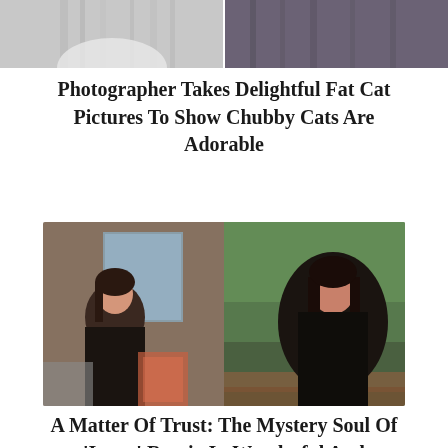[Figure (photo): Two chubby cats side by side — a white and grey cat on the left, a dark grey cat on the right against a purple background]
Photographer Takes Delightful Fat Cat Pictures To Show Chubby Cats Are Adorable
[Figure (photo): Two photos side by side: left shows a young woman with dark hair sitting in a vehicle; right shows a woman with long dark hair wearing black sitting outdoors with green trees behind her]
A Matter Of Trust: The Mystery Soul Of 'Inner' Russia In Wonderful And Sentimental Photographs Of Vugar
[Figure (photo): Partially visible blue-toned image at the bottom of the page, appears to show ice or water]